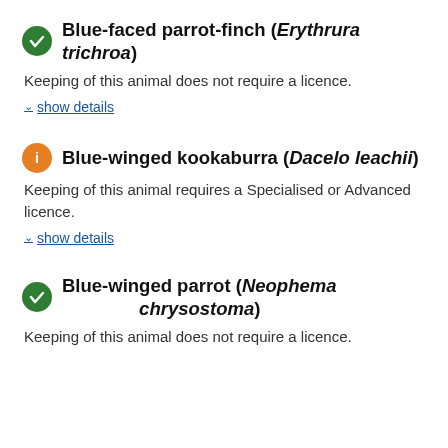Blue-faced parrot-finch (Erythrura trichroa)
Keeping of this animal does not require a licence.
show details
Blue-winged kookaburra (Dacelo leachii)
Keeping of this animal requires a Specialised or Advanced licence.
show details
Blue-winged parrot (Neophema chrysostoma)
Keeping of this animal does not require a licence.